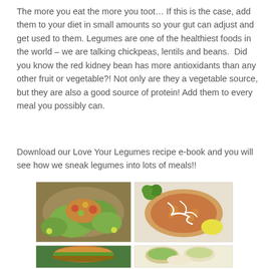The more you eat the more you toot… If this is the case, add them to your diet in small amounts so your gut can adjust and get used to them. Legumes are one of the healthiest foods in the world – we are talking chickpeas, lentils and beans.  Did you know the red kidney bean has more antioxidants than any other fruit or vegetable?! Not only are they a vegetable source, but they are also a good source of protein! Add them to every meal you possibly can.
Download our Love Your Legumes recipe e-book and you will see how we sneak legumes into lots of meals!!
[Figure (photo): Four food photos in a 2x2 grid showing legume-based meals: top-left shows lettuce cups filled with colorful legume mixture on a wooden board with lime; top-right shows a flatbread/pizza topped with chickpeas and cream drizzle with parsley and lemon; bottom-left shows a burger with greens; bottom-right shows bowls of various legume dishes with green herbs.]